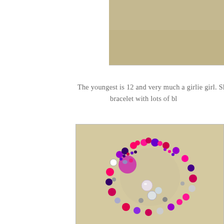[Figure (photo): Partial photo at top right showing a tan/beige background, cropped at the page edge. Appears to be a close-up of a surface or jewelry piece.]
The youngest is 12 and very much a girlie girl. She likes pink a... bracelet with lots of bl...
[Figure (photo): Close-up photograph of a colorful beaded bracelet featuring pink, purple, black, clear/crystal, and white/pearl beads arranged in a circular shape on a tan background.]